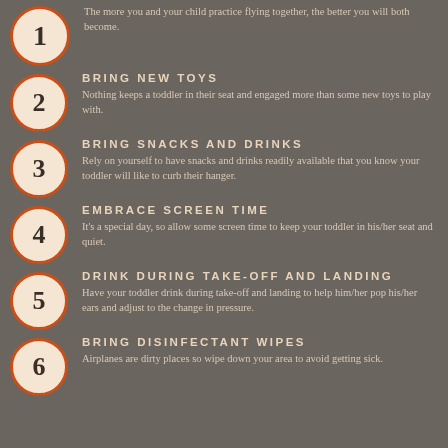1 — The more you and your child practice flying together, the better you will both become.
2 — BRING NEW TOYS — Nothing keeps a toddler in their seat and engaged more than some new toys to play with.
3 — BRING SNACKS AND DRINKS — Rely on yourself to have snacks and drinks readily available that you know your toddler will like to curb their hanger.
4 — EMBRACE SCREEN TIME — It's a special day, so allow some screen time to keep your toddler in his/her seat and quiet.
5 — DRINK DURING TAKE-OFF AND LANDING — Have your toddler drink during take-off and landing to help him/her pop his/her ears and adjust to the change in pressure.
6 — BRING DISINFECTANT WIPES — Airplanes are dirty places so wipe down your area to avoid getting sick.